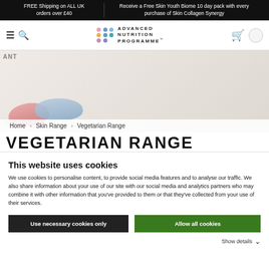FREE Shipping on ALL UK orders over £40 | Receive a Free Skin Youth Biome 10 day pack with every purchase of Skin Collagen Synergy
[Figure (logo): Advanced Nutrition Programme logo with colorful dots grid]
[Figure (photo): Product capsule jars in pink and blue on a light background, with text overlay 'ANT' and 'MOISTURE']
Home › Skin Range › Vegetarian Range
VEGETARIAN RANGE
This website uses cookies
We use cookies to personalise content, to provide social media features and to analyse our traffic. We also share information about your use of our site with our social media and analytics partners who may combine it with other information that you've provided to them or that they've collected from your use of their services.
Use necessary cookies only | Allow all cookies
Show details